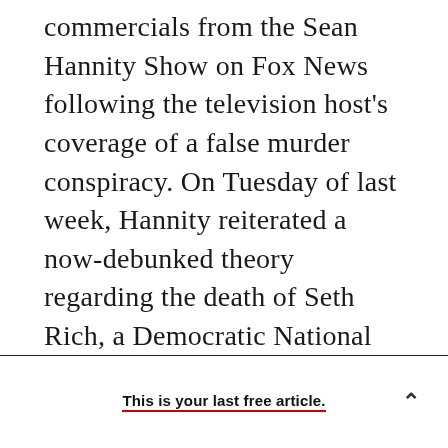commercials from the Sean Hannity Show on Fox News following the television host's coverage of a false murder conspiracy. On Tuesday of last week, Hannity reiterated a now-debunked theory regarding the death of Seth Rich, a Democratic National Committee employee who was gunned down last summer in Washington, D.C. While local police suspect the shooting to be a botched robbery, Hannity claimed that Rich was murdered over his alleged ties to WikiLeaks. Moreover, Hannity argued on Twitter that the story could potentially discount any evidence of collusion between Russian officials and the Trump
This is your last free article.